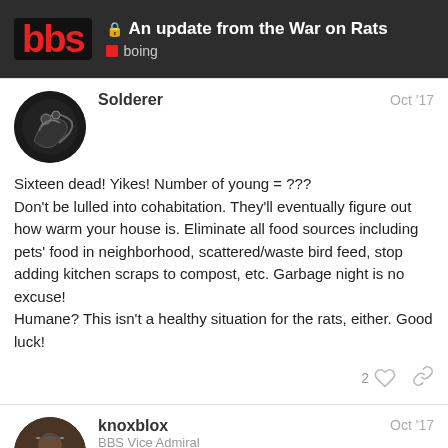An update from the War on Rats — boing
Solderer Oct '17
Sixteen dead! Yikes! Number of young = ???
Don't be lulled into cohabitation. They'll eventually figure out how warm your house is. Eliminate all food sources including pets' food in neighborhood, scattered/waste bird feed, stop adding kitchen scraps to compost, etc. Garbage night is no excuse!
Humane? This isn't a healthy situation for the rats, either. Good luck!
knoxblox Oct '17
BBS Vice Admiral
18 / 73